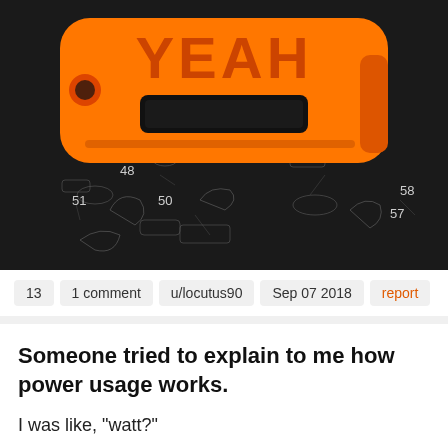[Figure (photo): An orange 3D-printed object with the word YEAH embossed on it, placed on top of a dark technical diagram/schematic with numbered parts including 48, 50, 51, 57, 58.]
13   1 comment   u/locutus90   Sep 07 2018   report
Someone tried to explain to me how power usage works.
I was like, "watt?"
17   3 comments   u/crazytacoman4   Dec 27 2017